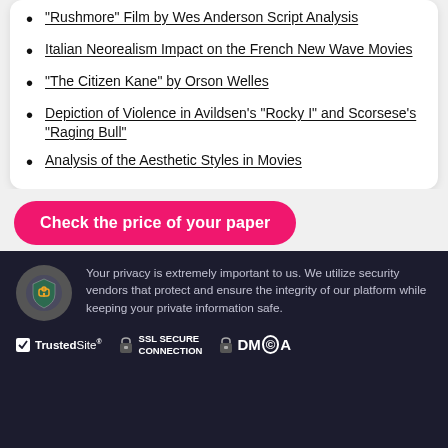"Rushmore" Film by Wes Anderson Script Analysis
Italian Neorealism Impact on the French New Wave Movies
"The Citizen Kane" by Orson Welles
Depiction of Violence in Avildsen's "Rocky I" and Scorsese's "Raging Bull"
Analysis of the Aesthetic Styles in Movies
Check the price of your paper
Your privacy is extremely important to us. We utilize security vendors that protect and ensure the integrity of our platform while keeping your private information safe.
TrustedSite  SSL SECURE CONNECTION  DMCA